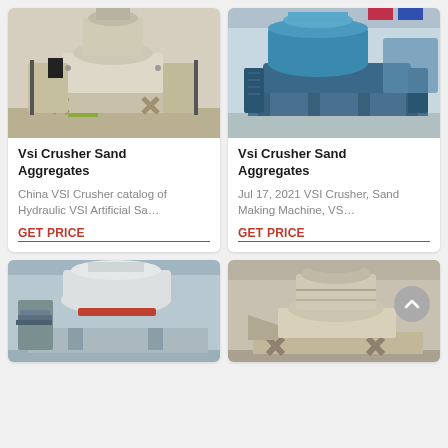[Figure (photo): VSI Crusher sand aggregates machine - beige/white industrial crushing equipment in factory]
Vsi Crusher Sand Aggregates
China VSI Crusher catalog of Hydraulic VSI Artificial Sa…
GET PRICE
[Figure (photo): VSI Crusher sand aggregates machine - large blue industrial sand making machine in factory]
Vsi Crusher Sand Aggregates
Jul 17, 2021 VSI Crusher, Sand Making Machine, VS…
GET PRICE
[Figure (photo): VSI crusher machine - white and grey industrial equipment in factory]
[Figure (photo): VSI cone crusher machine - beige/cream industrial crushing equipment in factory]